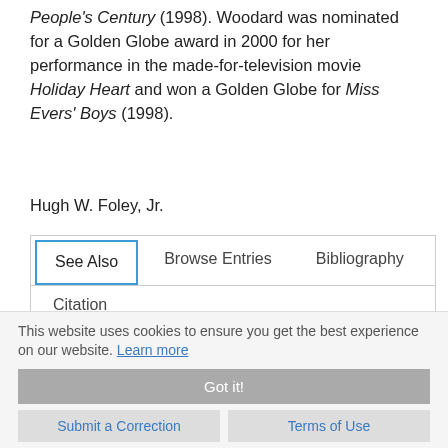People's Century (1998). Woodard was nominated for a Golden Globe award in 2000 for her performance in the made-for-television movie Holiday Heart and won a Golden Globe for Miss Evers' Boys (1998).
Hugh W. Foley, Jr.
See Also | Browse Entries | Bibliography | Citation
See Also
AFRICAN AMERICANS, FILM IMAGES OF OKLAHOMA
This website uses cookies to ensure you get the best experience on our website. Learn more
Got it!
Submit a Correction
Terms of Use